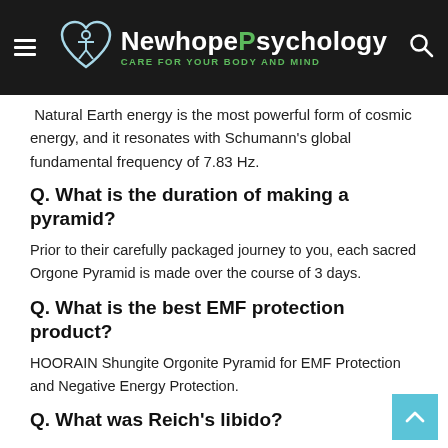NewhopePsychology — CARE FOR YOUR BODY AND MIND
Natural Earth energy is the most powerful form of cosmic energy, and it resonates with Schumann's global fundamental frequency of 7.83 Hz.
Q. What is the duration of making a pyramid?
Prior to their carefully packaged journey to you, each sacred Orgone Pyramid is made over the course of 3 days.
Q. What is the best EMF protection product?
HOORAIN Shungite Orgonite Pyramid for EMF Protection and Negative Energy Protection.
Q. What was Reich's libido?